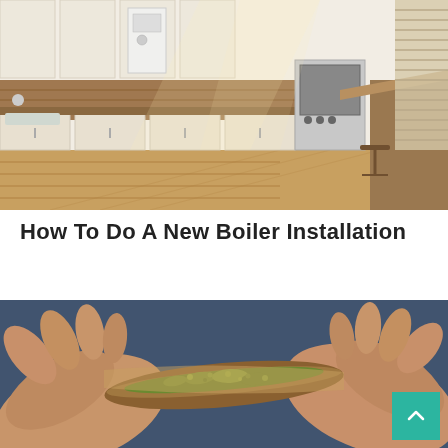[Figure (photo): Modern kitchen interior with cream/beige cabinets, wooden countertops, bar stools, stainless steel oven, and a boiler visible on the wall. Sunlight streaming through blinds on the right.]
How To Do A New Boiler Installation
[Figure (photo): Close-up of hands rolling a cigarette or similar, with green herb/tobacco visible. Blurred blue background.]